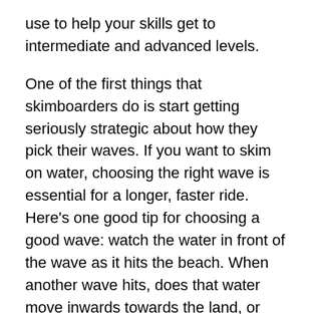use to help your skills get to intermediate and advanced levels.
One of the first things that skimboarders do is start getting seriously strategic about how they pick their waves. If you want to skim on water, choosing the right wave is essential for a longer, faster ride. Here’s one good tip for choosing a good wave: watch the water in front of the wave as it hits the beach. When another wave hits, does that water move inwards towards the land, or back out towards the water? Choose waves that are pushing water towards the land for a faster ride.
One thing you’ll learn over time is how to